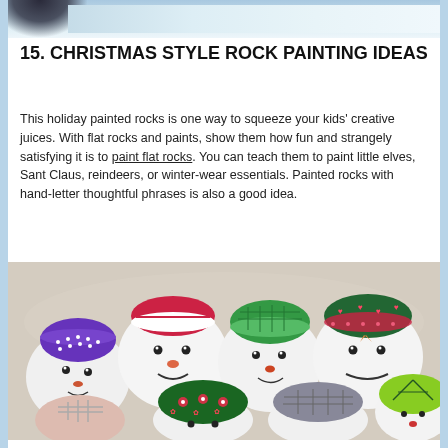[Figure (photo): Partial photo at top of page showing a snowy winter scene with a dark object visible at left]
15. CHRISTMAS STYLE ROCK PAINTING IDEAS
This holiday painted rocks is one way to squeeze your kids' creative juices. With flat rocks and paints, show them how fun and strangely satisfying it is to paint flat rocks. You can teach them to paint little elves, Sant Claus, reindeers, or winter-wear essentials. Painted rocks with hand-letter thoughtful phrases is also a good idea.
[Figure (photo): Photo of multiple painted rocks decorated as snowman faces with colorful winter hats in purple, red, green, and gray colors arranged together on a light fabric background]